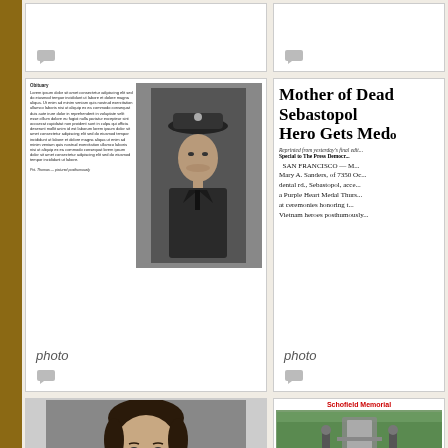[Figure (photo): Empty white card cell in top row left, with chat icon]
[Figure (photo): Empty white card cell in top row right, with chat icon]
[Figure (photo): Newspaper clipping showing a soldier in military uniform with hat, alongside article text. Label: photo]
[Figure (photo): Newspaper clipping with headline 'Mother of Dead Sebastopol Hero Gets Med...' and article text from San Francisco. Label: photo]
[Figure (photo): Black and white portrait photo of a young man smiling]
[Figure (photo): Schofield Memorial page with red title, photo of memorial statues, and body text]